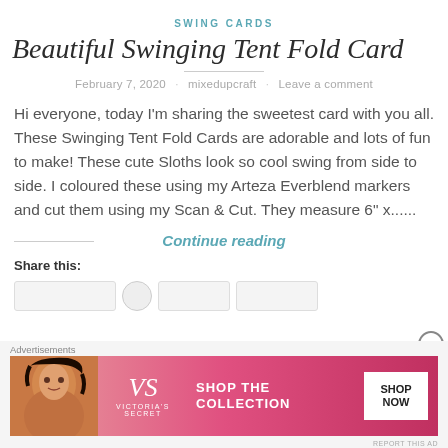SWING CARDS
Beautiful Swinging Tent Fold Card
February 7, 2020 · mixedupcraft · Leave a comment
Hi everyone, today I'm sharing the sweetest card with you all. These Swinging Tent Fold Cards are adorable and lots of fun to make! These cute Sloths look so cool swing from side to side. I coloured these using my Arteza Everblend markers and cut them using my Scan & Cut. They measure 6" x......
Continue reading
Share this:
[Figure (screenshot): Victoria's Secret advertisement banner with model, VS logo, SHOP THE COLLECTION text, and SHOP NOW button]